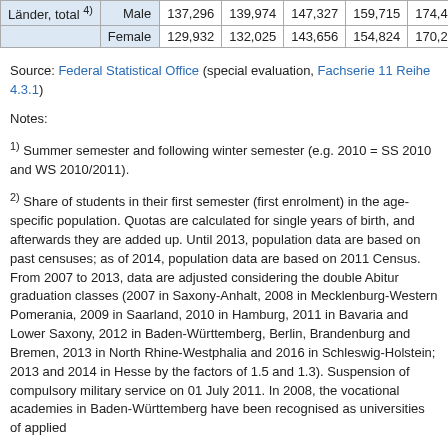|  |  | col1 | col2 | col3 | col4 | col5 |
| --- | --- | --- | --- | --- | --- | --- |
| Länder, total 4) | Male | 137,296 | 139,974 | 147,327 | 159,715 | 174,42 |
|  | Female | 129,932 | 132,025 | 143,656 | 154,824 | 170,23 |
Source: Federal Statistical Office (special evaluation, Fachserie 11 Reihe 4.3.1)
Notes:
1) Summer semester and following winter semester (e.g. 2010 = SS 2010 and WS 2010/2011).
2) Share of students in their first semester (first enrolment) in the age-specific population. Quotas are calculated for single years of birth, and afterwards they are added up. Until 2013, population data are based on past censuses; as of 2014, population data are based on 2011 Census. From 2007 to 2013, data are adjusted considering the double Abitur graduation classes (2007 in Saxony-Anhalt, 2008 in Mecklenburg-Western Pomerania, 2009 in Saarland, 2010 in Hamburg, 2011 in Bavaria and Lower Saxony, 2012 in Baden-Württemberg, Berlin, Brandenburg and Bremen, 2013 in North Rhine-Westphalia and 2016 in Schleswig-Holstein; 2013 and 2014 in Hesse by the factors of 1.5 and 1.3). Suspension of compulsory military service on 01 July 2011. In 2008, the vocational academies in Baden-Württemberg have been recognised as universities of applied